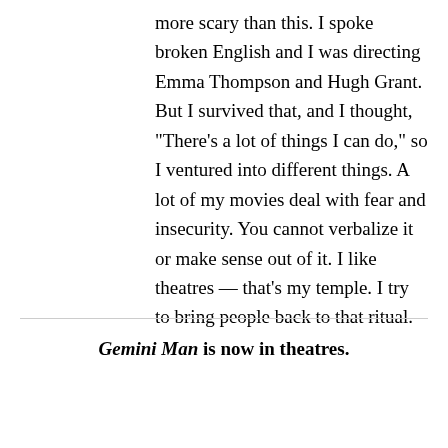more scary than this. I spoke broken English and I was directing Emma Thompson and Hugh Grant. But I survived that, and I thought, "There's a lot of things I can do," so I ventured into different things. A lot of my movies deal with fear and insecurity. You cannot verbalize it or make sense out of it. I like theatres — that's my temple. I try to bring people back to that ritual.
Gemini Man is now in theatres.